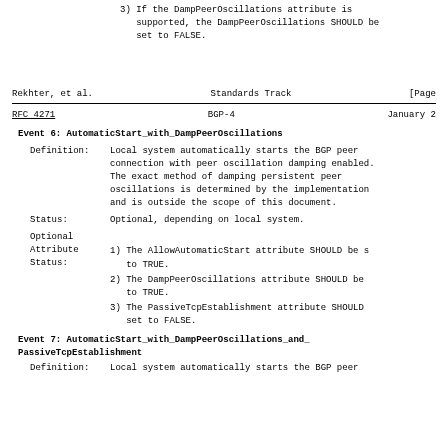3) If the DampPeerOscillations attribute is supported, the DampPeerOscillations SHOULD be set to FALSE.
Rekhter, et al.          Standards Track                    [Page
RFC 4271                         BGP-4                      January 2
Event 6: AutomaticStart_with_DampPeerOscillations
Definition: Local system automatically starts the BGP peer connection with peer oscillation damping enabled. The exact method of damping persistent peer oscillations is determined by the implementation and is outside the scope of this document.
Status:     Optional, depending on local system.
Optional
Attribute
Status:
1) The AllowAutomaticStart attribute SHOULD be set to TRUE.
2) The DampPeerOscillations attribute SHOULD be to TRUE.
3) The PassiveTcpEstablishment attribute SHOULD set to FALSE.
Event 7: AutomaticStart_with_DampPeerOscillations_and_
PassiveTcpEstablishment
Definition: Local system automatically starts the BGP peer connection with peer oscillation damping enabled.